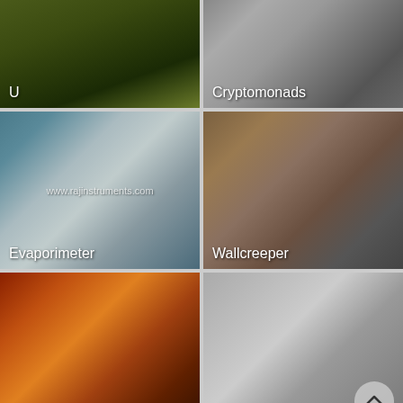[Figure (photo): Top-left image cell labeled U, showing greenish murky water with shapes]
[Figure (photo): Top-right image cell labeled Cryptomonads, showing microscopic organisms]
[Figure (photo): Middle-left image cell labeled Evaporimeter, showing a scientific instrument dish with watermark www.rajinstruments.com]
[Figure (photo): Middle-right image cell labeled Wallcreeper, showing a bird on rocky surface]
[Figure (photo): Bottom-left image cell labeled baluchitherium, showing two figures in dramatic pose]
[Figure (photo): Bottom-right image cell labeled Milkfish, showing a fish, with scroll-up button]
ABOUT THIS ARTICLE